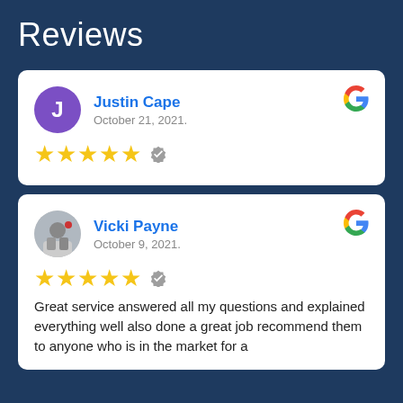Reviews
Justin Cape
October 21, 2021.
★★★★★ (5 stars, verified)
Vicki Payne
October 9, 2021.
★★★★★ (5 stars, verified)
Great service answered all my questions and explained everything well also done a great job recommend them to anyone who is in the market for a